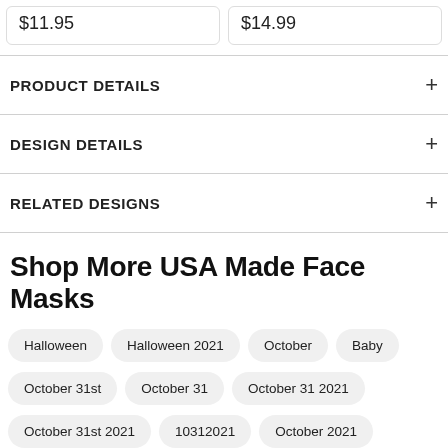$11.95
$14.99
PRODUCT DETAILS
DESIGN DETAILS
RELATED DESIGNS
Shop More USA Made Face Masks
Halloween
Halloween 2021
October
Baby
October 31st
October 31
October 31 2021
October 31st 2021
10312021
October 2021
October
Baby
Pumpkin
Halloween Night